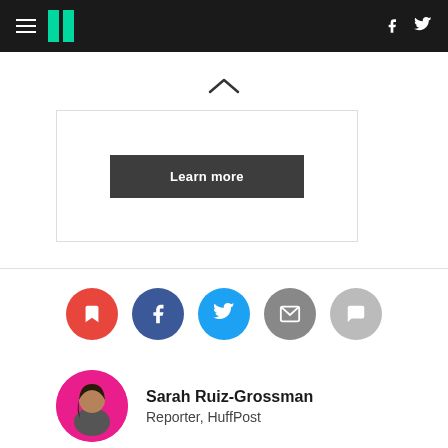HuffPost navigation bar with hamburger menu, logo, Facebook and Twitter icons
[Figure (screenshot): Chevron/caret up arrow symbol in dark color on white background]
[Figure (screenshot): Advertisement box with a dark 'Learn more' button]
[Figure (infographic): Social sharing icons row: bookmark (red), Facebook (blue), Twitter (light blue), email (grey), comment (light grey)]
[Figure (photo): Author avatar photo of Sarah Ruiz-Grossman on pink background]
Sarah Ruiz-Grossman
Reporter, HuffPost